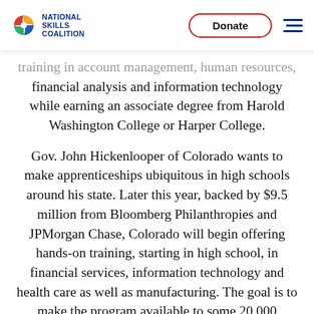National Skills Coalition | Donate
training in account management, human resources, financial analysis and information technology while earning an associate degree from Harold Washington College or Harper College.
Gov. John Hickenlooper of Colorado wants to make apprenticeships ubiquitous in high schools around his state. Later this year, backed by $9.5 million from Bloomberg Philanthropies and JPMorgan Chase, Colorado will begin offering hands-on training, starting in high school, in financial services, information technology and health care as well as manufacturing. The goal is to make the program available to some 20,000 students at all academic and income levels within the next decade.
“Apprenticeships can start with a job and end with a